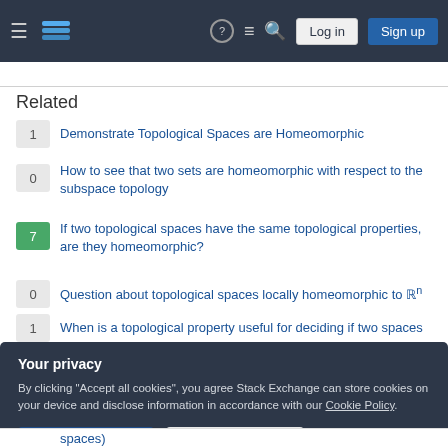Stack Exchange — Log in | Sign up
Related
1 — Demonstrate Topological Spaces are Homeomorphic
0 — How to see that two sets are homeomorphic with respect to the subspace topology
7 — If two topological spaces have the same topological properties, are they homeomorphic?
0 — Question about topological spaces locally homeomorphic to ℝⁿ
1 — When is a topological property useful for deciding if two spaces
Your privacy
By clicking "Accept all cookies", you agree Stack Exchange can store cookies on your device and disclose information in accordance with our Cookie Policy.
Accept all cookies | Customize settings
spaces)